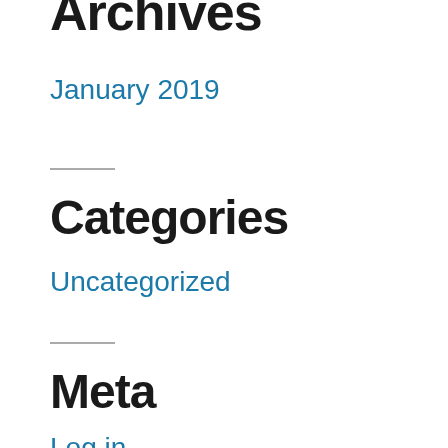Archives
January 2019
Categories
Uncategorized
Meta
Log in